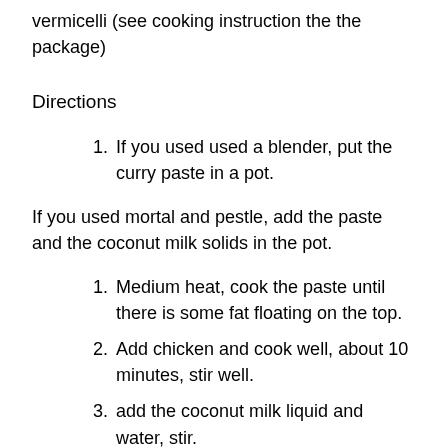vermicelli (see cooking instruction the the package)
Directions
1. If you used used a blender, put the curry paste in a pot.
If you used mortal and pestle, add the paste and the coconut milk solids in the pot.
1. Medium heat, cook the paste until there is some fat floating on the top.
2. Add chicken and cook well, about 10 minutes, stir well.
3. add the coconut milk liquid and water, stir.